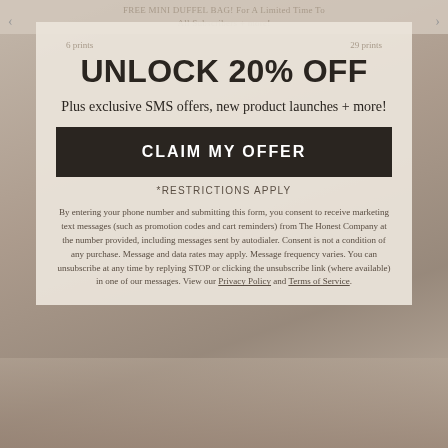FREE MINI DUFFEL BAG! For A Limited Time To All Subscribers + more!
UNLOCK 20% OFF
Plus exclusive SMS offers, new product launches + more!
CLAIM MY OFFER
*RESTRICTIONS APPLY
By entering your phone number and submitting this form, you consent to receive marketing text messages (such as promotion codes and cart reminders) from The Honest Company at the number provided, including messages sent by autodialer. Consent is not a condition of any purchase. Message and data rates may apply. Message frequency varies. You can unsubscribe at any time by replying STOP or clicking the unsubscribe link (where available) in one of our messages. View our Privacy Policy and Terms of Service.